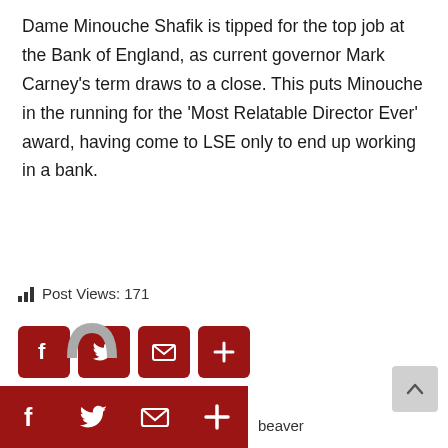Dame Minouche Shafik is tipped for the top job at the Bank of England, as current governor Mark Carney’s term draws to a close. This puts Minouche in the running for the ‘Most Relatable Director Ever’ award, having come to LSE only to end up working in a bank.
Post Views: 171
[Figure (other): Social share buttons: Facebook, Twitter, Email, More (plus icon) — dark red rounded square buttons]
[Figure (other): Bottom bar with social share buttons (Facebook, Twitter, Email, More) in dark red, a partial lock/privacy icon, text 'beaver', and a scroll-to-top arrow button]